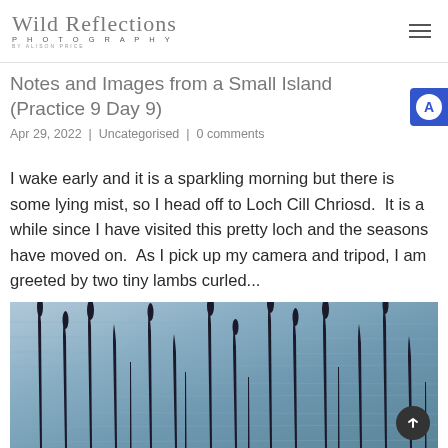Wild Reflections Photography by Alison Price
Notes and Images from a Small Island (Practice 9 Day 9)
Apr 29, 2022 | Uncategorised | 0 comments
I wake early and it is a sparkling morning but there is some lying mist, so I head off to Loch Cill Chriosd. It is a while since I have visited this pretty loch and the seasons have moved on. As I pick up my camera and tripod, I am greeted by two tiny lambs curled...
[Figure (photo): Photograph of dark reed silhouettes reflected in a grey-blue loch water surface with rippling texture]